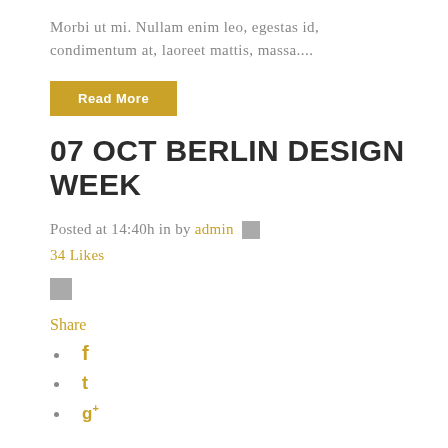Morbi ut mi. Nullam enim leo, egestas id, condimentum at, laoreet mattis, massa....
Read More
07 OCT BERLIN DESIGN WEEK
Posted at 14:40h in by admin
34 Likes
Share
f
t
g+
Lorem ipsum dolor sit amet, consectetuer adipiscing elit. Nam cursus. Morbi ut mi. Nullam enim leo, egestas id, condimentum at, laoreet mattis, massa.
...